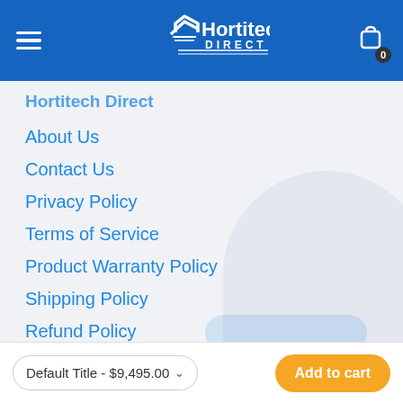Hortitech Direct
Hortitech Direct
About Us
Contact Us
Privacy Policy
Terms of Service
Product Warranty Policy
Shipping Policy
Refund Policy
Default Title - $9,495.00
Add to cart